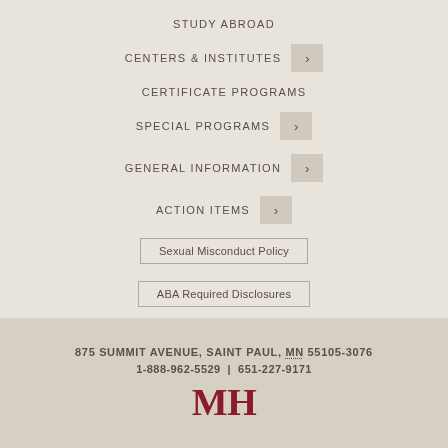STUDY ABROAD
CENTERS & INSTITUTES
CERTIFICATE PROGRAMS
SPECIAL PROGRAMS
GENERAL INFORMATION
ACTION ITEMS
Sexual Misconduct Policy
ABA Required Disclosures
875 SUMMIT AVENUE, SAINT PAUL, MN 55105-3076
1-888-962-5529 | 651-227-9171
MH